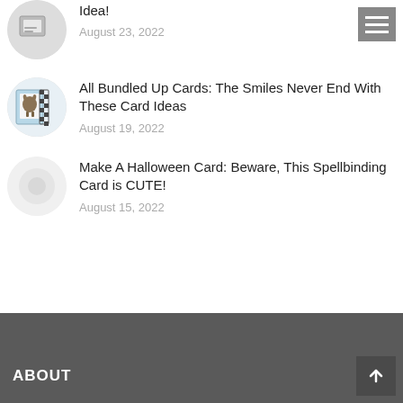[Figure (illustration): Partial circular thumbnail image at top left, partially cut off]
Idea!
August 23, 2022
[Figure (illustration): Hamburger menu icon (three horizontal lines) in a gray square, top right]
[Figure (photo): Circular thumbnail showing bundled up cards with a reindeer/donkey illustration]
All Bundled Up Cards: The Smiles Never End With These Card Ideas
August 19, 2022
[Figure (photo): Circular thumbnail, faded/light gray, partially visible]
Make A Halloween Card: Beware, This Spellbinding Card is CUTE!
August 15, 2022
ABOUT